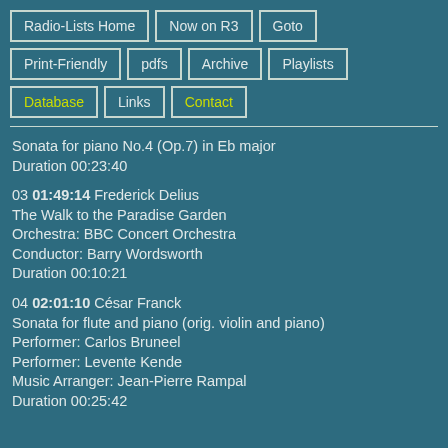Radio-Lists Home
Now on R3
Goto
Print-Friendly
pdfs
Archive
Playlists
Database
Links
Contact
Sonata for piano No.4 (Op.7) in Eb major
Duration 00:23:40
03 01:49:14 Frederick Delius
The Walk to the Paradise Garden
Orchestra: BBC Concert Orchestra
Conductor: Barry Wordsworth
Duration 00:10:21
04 02:01:10 César Franck
Sonata for flute and piano (orig. violin and piano)
Performer: Carlos Bruneel
Performer: Levente Kende
Music Arranger: Jean-Pierre Rampal
Duration 00:25:42